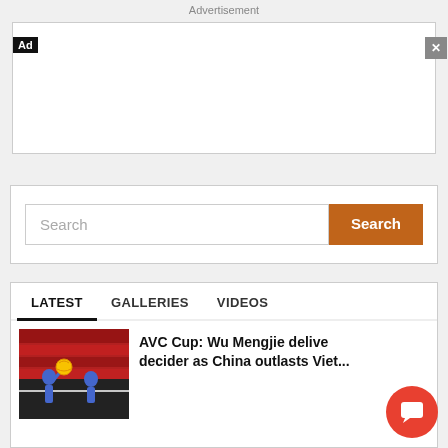Advertisement
[Figure (other): Advertisement banner area with Ad badge and close button (X)]
Search
LATEST   GALLERIES   VIDEOS
[Figure (photo): Volleyball match photo showing players at net, with red seats in background]
AVC Cup: Wu Mengjie delivers decider as China outlasts Viet...